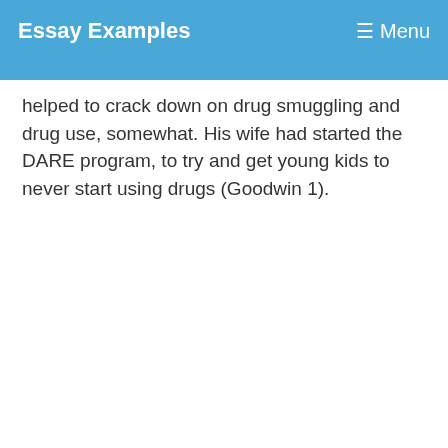Essay Examples    ☰ Menu
helped to crack down on drug smuggling and drug use, somewhat. His wife had started the DARE program, to try and get young kids to never start using drugs (Goodwin 1).